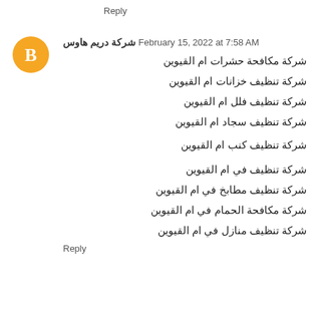Reply
شركة دريم هاوس  February 15, 2022 at 7:58 AM
شركة مكافحة حشرات ام القيوين
شركة تنظيف خزانات ام القيوين
شركة تنظيف فلل ام القيوين
شركة تنظيف سجاد ام القيوين
شركة تنظيف كنب ام القيوين
شركة تنظيف في ام القيوين
شركة تنظيف مطابخ في ام القيوين
شركة مكافحة الحمام في ام القيوين
شركة تنظيف منازل في ام القيوين
Reply